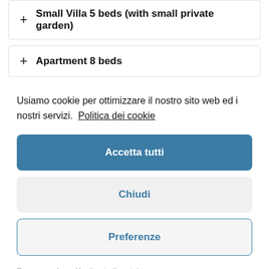+ Small Villa 5 beds (with small private garden)
+ Apartment 8 beds
Usiamo cookie per ottimizzare il nostro sito web ed i nostri servizi.  Politica dei cookie
Accetta tutti
Chiudi
Preferenze
Power supply  -  Heating in the winter